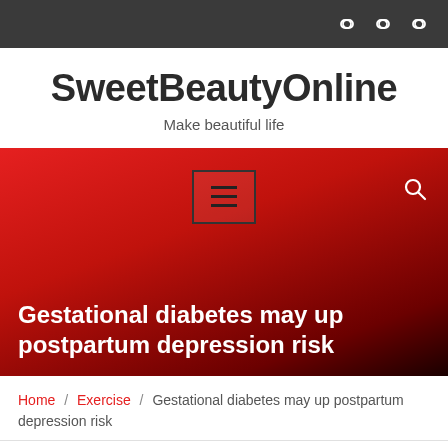SweetBeautyOnline — top navigation bar with chain/link icons
SweetBeautyOnline
Make beautiful life
[Figure (screenshot): Red gradient hero banner with hamburger menu box and search icon]
Gestational diabetes may up postpartum depression risk
Home / Exercise / Gestational diabetes may up postpartum depression risk